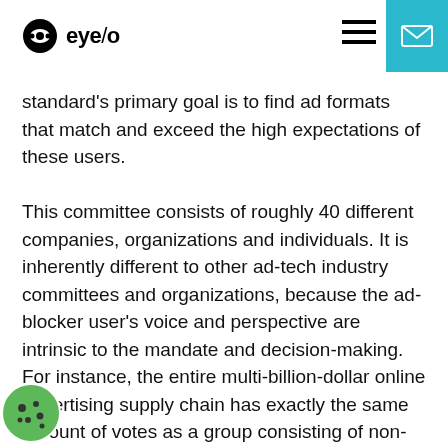eye/o
standard's primary goal is to find ad formats that match and exceed the high expectations of these users.
This committee consists of roughly 40 different companies, organizations and individuals. It is inherently different to other ad-tech industry committees and organizations, because the ad-blocker user's voice and perspective are intrinsic to the mandate and decision-making. For instance, the entire multi-billion-dollar online advertising supply chain has exactly the same amount of votes as a group consisting of non-profits and digital rights NGOs and 'the representative party' for actual ad-blocker users. These groups have to work together to identify advertising formats that function for all